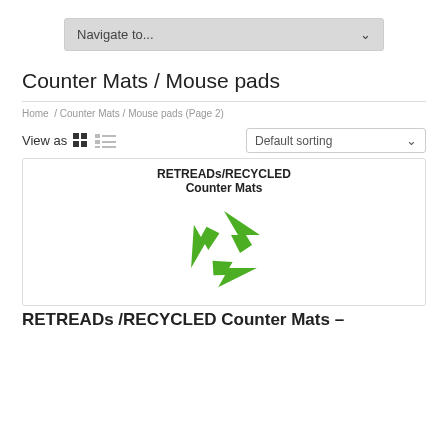[Figure (screenshot): Navigate to... dropdown navigation bar]
Counter Mats / Mouse pads
Home / Counter Mats / Mouse pads (Page 2)
View as  [grid icon] [list icon]  Default sorting
[Figure (illustration): Product card showing RETREADs/RECYCLED Counter Mats with green recycling symbol logo]
RETREADs /RECYCLED Counter Mats –